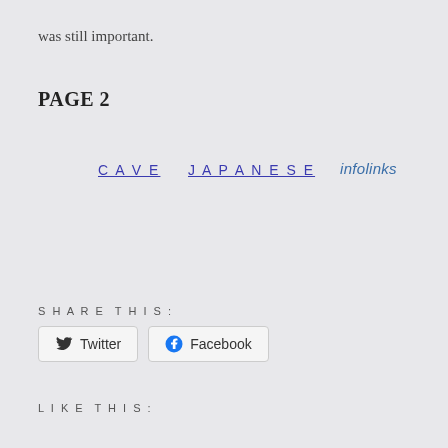was still important.
PAGE 2
CAVE   JAPANESE   infolinks
SHARE THIS:
Twitter  Facebook
LIKE THIS: